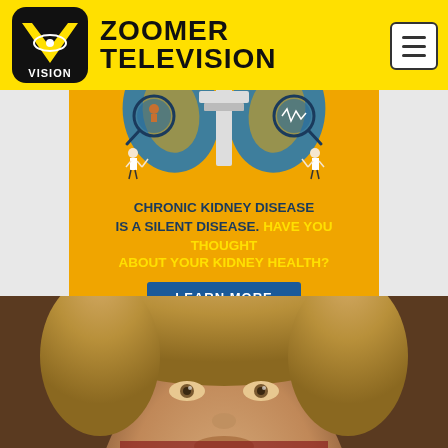ZOOMER TELEVISION
[Figure (infographic): Chronic Kidney Disease health awareness advertisement with orange background, illustrated kidneys with magnifying glasses, two small doctor figures, and text. Title: CHRONIC KIDNEY DISEASE IS A SILENT DISEASE. HAVE YOU THOUGHT ABOUT YOUR KIDNEY HEALTH? With a LEARN MORE button.]
[Figure (photo): Bottom portion of a person's face with blonde hair, looking forward, warm tones.]